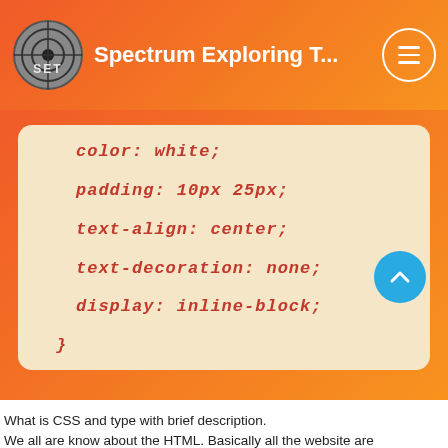Spectrum Exploring T...
[Figure (screenshot): Code snippet card showing CSS properties: color: white; padding: 10px 25px; text-align: center; text-decoration: none; display: inline-block; }]
What is CSS and type with brief description.
We all are know about the HTML. Basically all the website are